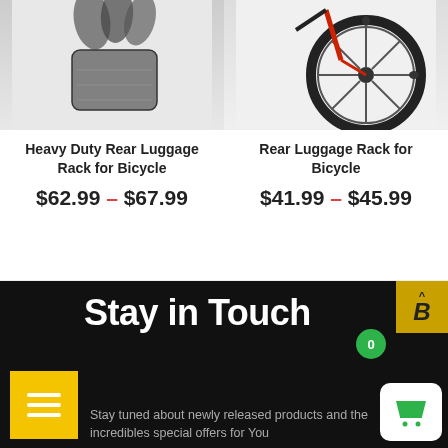[Figure (photo): Product image of heavy duty rear luggage rack for bicycle (gloves/rack shown from above)]
Heavy Duty Rear Luggage Rack for Bicycle
$62.99 – $67.99
[Figure (photo): Product image of rear luggage rack for bicycle (bicycle wheel and frame visible)]
Rear Luggage Rack for Bicycle
$41.99 – $45.99
Stay in Touch
Stay tuned about newly released products and the incredibles special offers for You